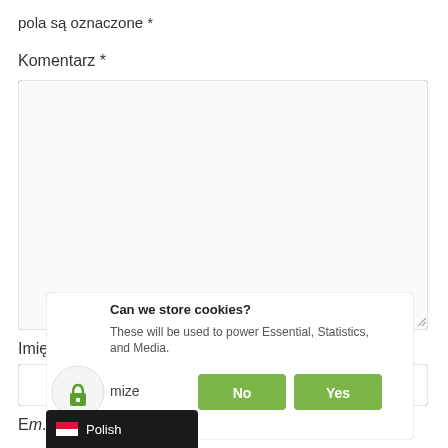pola są oznaczone *
Komentarz *
[Figure (screenshot): Empty textarea input field for comment]
Imię *
[Figure (screenshot): Empty text input field for first name]
E...
[Figure (screenshot): Cookie consent dialog: 'Can we store cookies? These will be used to power Essential, Statistics, and Media.' with Customize, No, and Yes buttons]
Polish